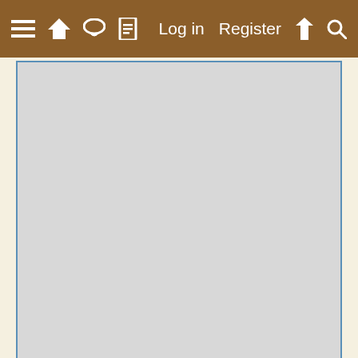≡ 🏠 💬 📄   Log in   Register  ⚡ 🔍
[Figure (other): Gray advertisement or image placeholder box with blue border]
May 23, 2011
PeepsCA
Crowing   8 Years
Thanks Kyle 🙂 I've hatched a lot of keets and incessantly